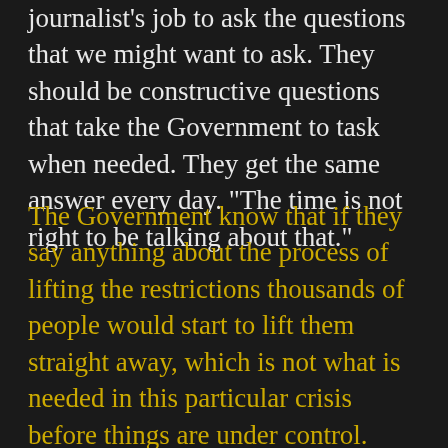journalist's job to ask the questions that we might want to ask. They should be constructive questions that take the Government to task when needed. They get the same answer every day. "The time is not right to be talking about that."
The Government know that if they say anything about the process of lifting the restrictions thousands of people would start to lift them straight away, which is not what is needed in this particular crisis before things are under control. People are people. We have had the same nature since Adam and Eve. They did precisely what they were told not to do. All the way through history people have been difficult to manage. It has a lot to do with free will I suppose. When we look at the graph of different nations' management of this crisis all the free and democratic nations' death toll is far higher than China or South